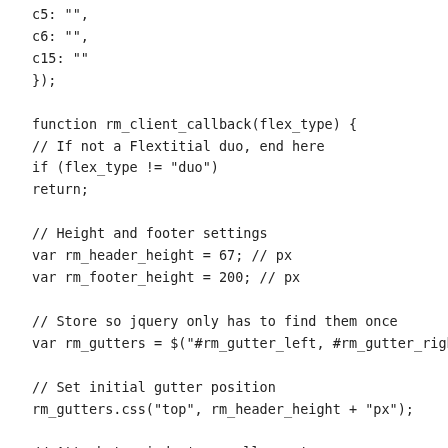c5: "",
c6: "",
c15: ""
});

function rm_client_callback(flex_type) {
// If not a Flextitial duo, end here
if (flex_type != "duo")
return;

// Height and footer settings
var rm_header_height = 67; // px
var rm_footer_height = 200; // px

// Store so jquery only has to find them once
var rm_gutters = $("#rm_gutter_left, #rm_gutter_right");

// Set initial gutter position
rm_gutters.css("top", rm_header_height + "px");

// Attach to window's scroll event
$(window).scroll(function() {
st = $(this).scrollTop();